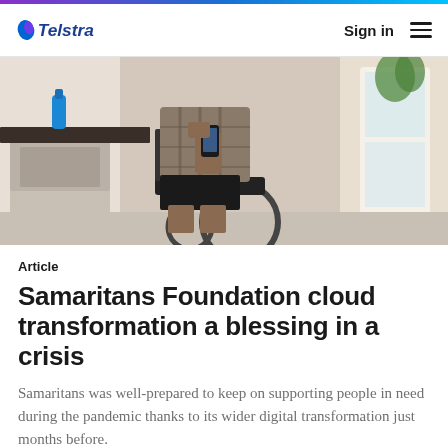[Figure (logo): Telstra logo with blue flame/leaf icon and 'Telstra' wordmark in blue]
Sign in  ≡
[Figure (photo): Person in a wheelchair holding a smartphone, wearing a plaid shirt and dark shorts, indoors near a door with natural light]
Article
Samaritans Foundation cloud transformation a blessing in a crisis
Samaritans was well-prepared to keep on supporting people in need during the pandemic thanks to its wider digital transformation just months before.